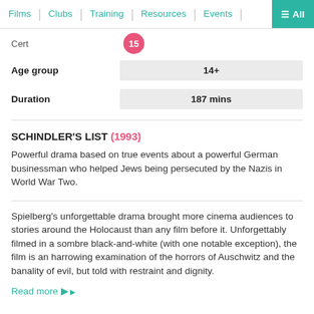Films | Clubs | Training | Resources | Events | ≡ All
Cert  15
| Field | Value |
| --- | --- |
| Age group | 14+ |
| Duration | 187 mins |
SCHINDLER'S LIST (1993)
Powerful drama based on true events about a powerful German businessman who helped Jews being persecuted by the Nazis in World War Two.
Spielberg's unforgettable drama brought more cinema audiences to stories around the Holocaust than any film before it. Unforgettably filmed in a sombre black-and-white (with one notable exception), the film is an harrowing examination of the horrors of Auschwitz and the banality of evil, but told with restraint and dignity.
Read more ▶